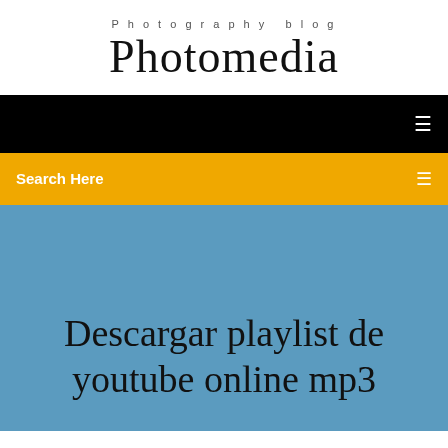Photography blog
Photomedia
[Figure (screenshot): Black navigation bar with a white menu icon on the right]
Search Here
Descargar playlist de youtube online mp3